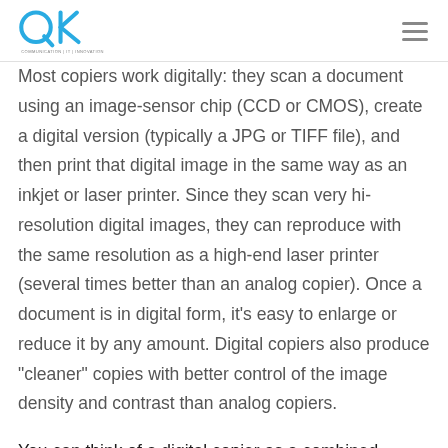QK COMMUNICATION | IT | INNOVATION
Most copiers work digitally: they scan a document using an image-sensor chip (CCD or CMOS), create a digital version (typically a JPG or TIFF file), and then print that digital image in the same way as an inkjet or laser printer. Since they scan very hi-resolution digital images, they can reproduce with the same resolution as a high-end laser printer (several times better than an analog copier). Once a document is in digital form, it's easy to enlarge or reduce it by any amount. Digital copiers also produce "cleaner" copies with better control of the image density and contrast than analog copiers.
You can think of a digital copier as a combined scanner and printer, coordinated by a built-in computer; and,